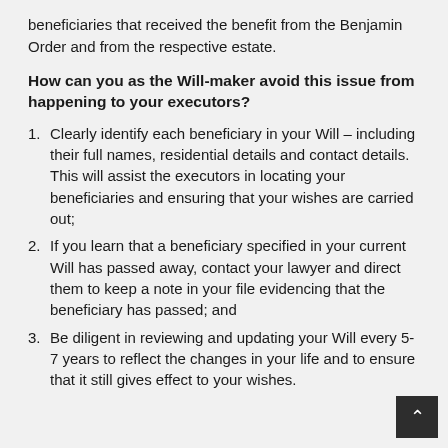beneficiaries that received the benefit from the Benjamin Order and from the respective estate.
How can you as the Will-maker avoid this issue from happening to your executors?
Clearly identify each beneficiary in your Will – including their full names, residential details and contact details. This will assist the executors in locating your beneficiaries and ensuring that your wishes are carried out;
If you learn that a beneficiary specified in your current Will has passed away, contact your lawyer and direct them to keep a note in your file evidencing that the beneficiary has passed; and
Be diligent in reviewing and updating your Will every 5-7 years to reflect the changes in your life and to ensure that it still gives effect to your wishes.